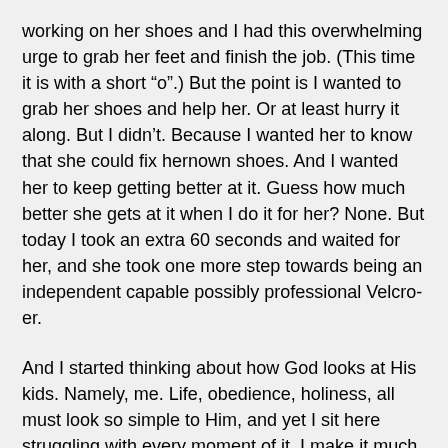working on her shoes and I had this overwhelming urge to grab her feet and finish the job. (This time it is with a short “o”.) But the point is I wanted to grab her shoes and help her. Or at least hurry it along. But I didn’t. Because I wanted her to know that she could fix hernown shoes. And I wanted her to keep getting better at it. Guess how much better she gets at it when I do it for her? None. But today I took an extra 60 seconds and waited for her, and she took one more step towards being an independent capable possibly professional Velcro-er.
And I started thinking about how God looks at His kids. Namely, me. Life, obedience, holiness, all must look so simple to Him, and yet I sit here struggling with every moment of it. I make it much harder than it has to be sometimes. And I fail often. And I cry out to God, “How are you not able to tell this happens?”